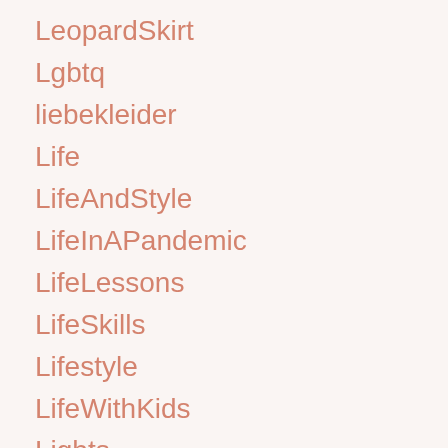LeopardSkirt
Lgbtq
liebekleider
Life
LifeAndStyle
LifeInAPandemic
LifeLessons
LifeSkills
Lifestyle
LifeWithKids
Lights
Liketoknowit
LillyPulitzer
LimeGreenSalad
LimeGreenTwinQuilt